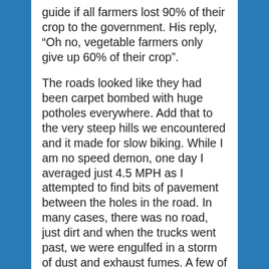guide if all farmers lost 90% of their crop to the government.  His reply, “Oh no, vegetable farmers only give up 60% of their crop”.
The roads looked like they had been carpet bombed with huge potholes everywhere.  Add that to the very steep hills we encountered and it made for slow biking.  While I am no speed demon, one day I averaged just 4.5 MPH as I attempted to find bits of pavement between the holes in the road.  In many cases, there was no road, just dirt and when the trucks went past, we were engulfed in a storm of dust and exhaust fumes.  A few of the trucks were left over Russian military vehicles.  Personal transportation in the rural area was provided by stake bodied trucks.  People would stand by the side of the road and climb aboard when such a truck came by.  The fare was